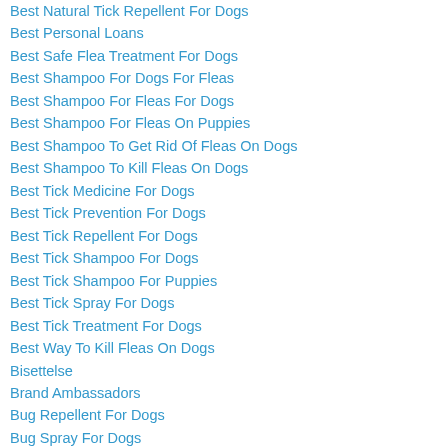Best Natural Tick Repellent For Dogs
Best Personal Loans
Best Safe Flea Treatment For Dogs
Best Shampoo For Dogs For Fleas
Best Shampoo For Fleas For Dogs
Best Shampoo For Fleas On Puppies
Best Shampoo To Get Rid Of Fleas On Dogs
Best Shampoo To Kill Fleas On Dogs
Best Tick Medicine For Dogs
Best Tick Prevention For Dogs
Best Tick Repellent For Dogs
Best Tick Shampoo For Dogs
Best Tick Shampoo For Puppies
Best Tick Spray For Dogs
Best Tick Treatment For Dogs
Best Way To Kill Fleas On Dogs
Bisettelse
Brand Ambassadors
Bug Repellent For Dogs
Bug Spray For Dogs
Bug Tag